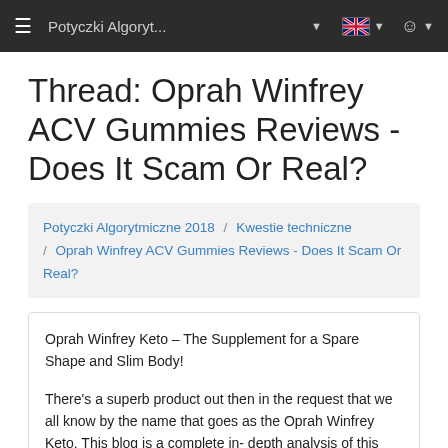≡  Potyczki Algoryt...  ▾  [UK flag] ▾  [user icon] ▾
Thread: Oprah Winfrey ACV Gummies Reviews - Does It Scam Or Real?
Potyczki Algorytmiczne 2018 / Kwestie techniczne / Oprah Winfrey ACV Gummies Reviews - Does It Scam Or Real?
Oprah Winfrey Keto – The Supplement for a Spare Shape and Slim Body!

There's a superb product out then in the request that we all know by the name that goes as the Oprah Winfrey Keto. This blog is a complete in- depth analysis of this outstanding as well as vindicated weight loss product. Rotundity is the root